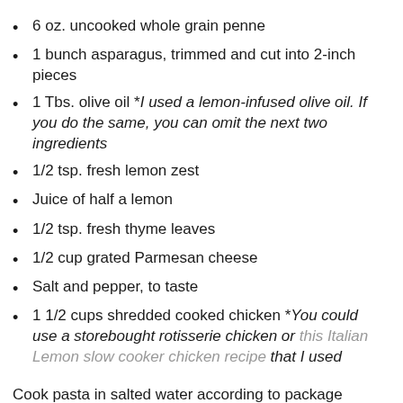6 oz. uncooked whole grain penne
1 bunch asparagus, trimmed and cut into 2-inch pieces
1 Tbs. olive oil *I used a lemon-infused olive oil. If you do the same, you can omit the next two ingredients
1/2 tsp. fresh lemon zest
Juice of half a lemon
1/2 tsp. fresh thyme leaves
1/2 cup grated Parmesan cheese
Salt and pepper, to taste
1 1/2 cups shredded cooked chicken *You could use a storebought rotisserie chicken or this Italian Lemon slow cooker chicken recipe that I used
Cook pasta in salted water according to package directions. With 3 minutes left in the pasta cook time, add the asparagus to the pot and continue to cook. Reserve 1/2 cup